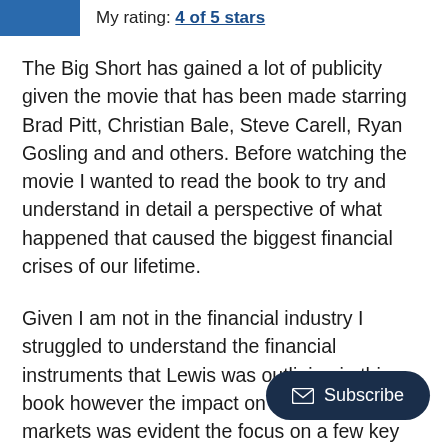My rating: 4 of 5 stars
The Big Short has gained a lot of publicity given the movie that has been made starring Brad Pitt, Christian Bale, Steve Carell, Ryan Gosling and and others. Before watching the movie I wanted to read the book to try and understand in detail a perspective of what happened that caused the biggest financial crises of our lifetime.
Given I am not in the financial industry I struggled to understand the financial instruments that Lewis was outlining in this book however the impact on the financial markets was evident the focus on a few key players in a few key financial instruments; namely credit default